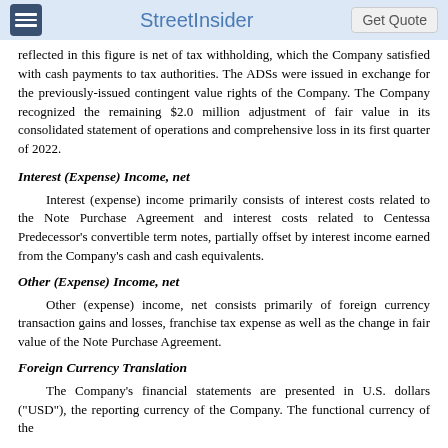StreetInsider | Get Quote
reflected in this figure is net of tax withholding, which the Company satisfied with cash payments to tax authorities. The ADSs were issued in exchange for the previously-issued contingent value rights of the Company. The Company recognized the remaining $2.0 million adjustment of fair value in its consolidated statement of operations and comprehensive loss in its first quarter of 2022.
Interest (Expense) Income, net
Interest (expense) income primarily consists of interest costs related to the Note Purchase Agreement and interest costs related to Centessa Predecessor's convertible term notes, partially offset by interest income earned from the Company's cash and cash equivalents.
Other (Expense) Income, net
Other (expense) income, net consists primarily of foreign currency transaction gains and losses, franchise tax expense as well as the change in fair value of the Note Purchase Agreement.
Foreign Currency Translation
The Company's financial statements are presented in U.S. dollars ("USD"), the reporting currency of the Company. The functional currency of the